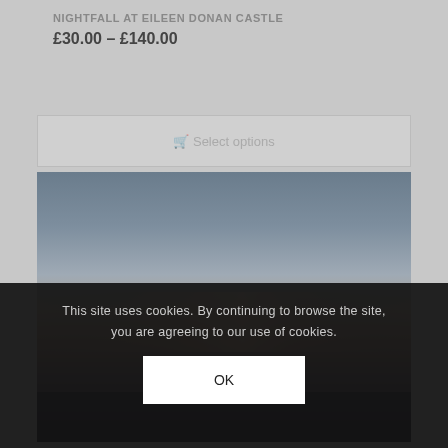NIGHTFALL AT EILEEN DONAN CASTLE
£30.00 – £140.00
Select options
[Figure (photo): Nightfall sky photo showing twilight gradients from blue-grey at top to dark tones at bottom, likely Eileen Donan Castle scene]
This site uses cookies. By continuing to browse the site, you are agreeing to our use of cookies.
OK